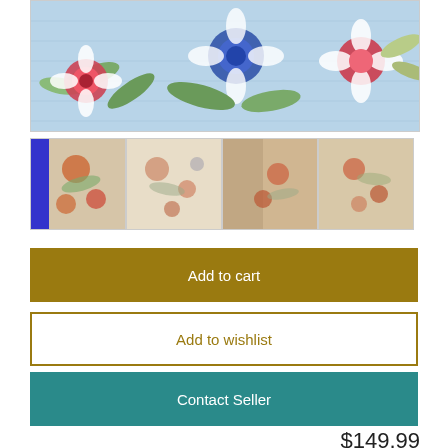[Figure (photo): Main product image: floral quilted bedspread with blue, red, and white flowers on a blue background]
[Figure (photo): Thumbnail 1: floral bedspread folded, with blue and orange flowers on cream background, blue fabric visible at left]
[Figure (photo): Thumbnail 2: close-up of cream bedspread with small pink and orange floral pattern]
[Figure (photo): Thumbnail 3: bedspread draped over furniture, cream with floral pattern]
[Figure (photo): Thumbnail 4: close-up of cream bedspread with floral pattern]
Add to cart
Add to wishlist
Contact Seller
$149.99
Quantity available: 1
Floral Quilted Bedspread w/w/ Scalloped Edges and  Matching Pillow Shams   The spread is 82" x 86"   Probably perfect for a double